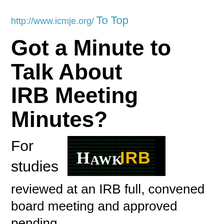http://www.icmje.org/
To Top
Got a Minute to Talk About IRB Meeting Minutes?
[Figure (logo): HawkIRB logo — black background with binary code pattern and text 'HawkIRB' where 'Hawk' is white and 'IRB' is gold/yellow]
For studies reviewed at an IRB full, convened board meeting and approved pending required actions, the Principal Investigator (and his/her HawkIRB